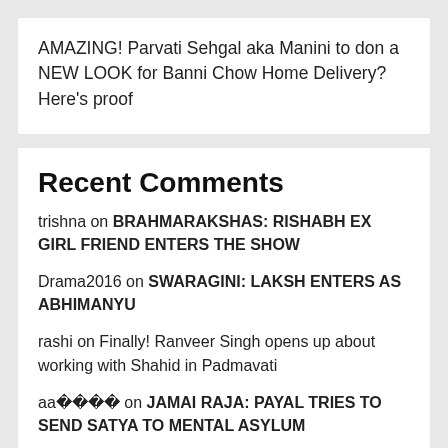AMAZING! Parvati Sehgal aka Manini to don a NEW LOOK for Banni Chow Home Delivery? Here’s proof
Recent Comments
trishna on BRAHMARAKSHAS: RISHABH EX GIRL FRIEND ENTERS THE SHOW
Drama2016 on SWARAGINI: LAKSH ENTERS AS ABHIMANYU
rashi on Finally! Ranveer Singh opens up about working with Shahid in Padmavati
aa���� on JAMAI RAJA: PAYAL TRIES TO SEND SATYA TO MENTAL ASYLUM
aa���� on EK THA RAJA EK THI RANI: RAJA GIVES